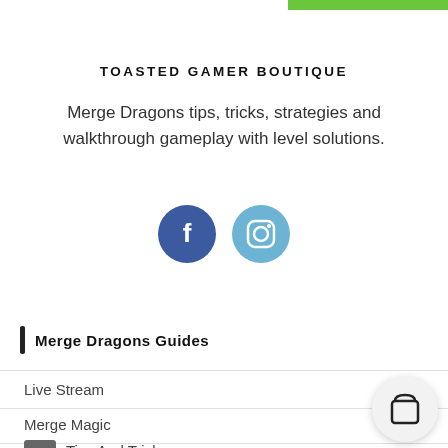TOASTED GAMER BOUTIQUE
Merge Dragons tips, tricks, strategies and walkthrough gameplay with level solutions.
[Figure (infographic): Two social media icons: Facebook (dark blue circle with 'f' logo) and Instagram (light blue circle with camera logo)]
Merge Dragons Guides
Live Stream
Merge Magic
Tips And Tricks